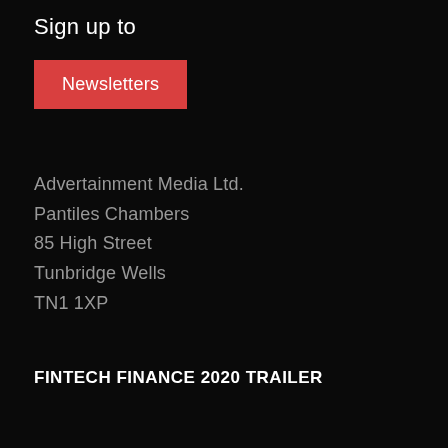Sign up to
Newsletters
Advertainment Media Ltd.
Pantiles Chambers
85 High Street
Tunbridge Wells
TN1 1XP
FINTECH FINANCE 2020 TRAILER